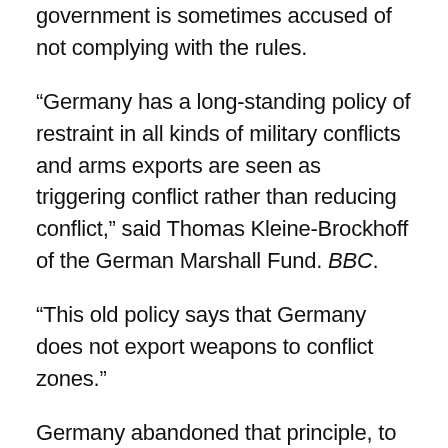government is sometimes accused of not complying with the rules.
“Germany has a long-standing policy of restraint in all kinds of military conflicts and arms exports are seen as triggering conflict rather than reducing conflict,” said Thomas Kleine-Brockhoff of the German Marshall Fund. BBC.
“This old policy says that Germany does not export weapons to conflict zones.”
Germany abandoned that principle, to arm the Peshmerga fighting ISIS in northern Iraq. But the situation in Ukraine is different, he said. The reason is historical – the Nazis killed millions in Ukraine and Russia.